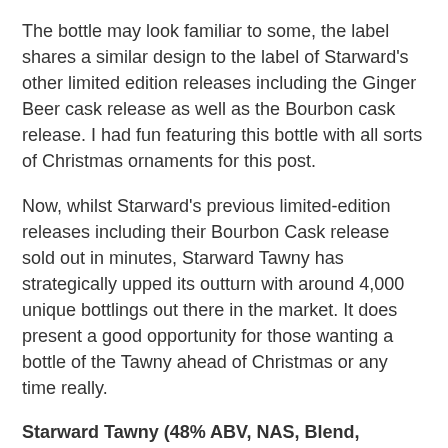The bottle may look familiar to some, the label shares a similar design to the label of Starward's other limited edition releases including the Ginger Beer cask release as well as the Bourbon cask release. I had fun featuring this bottle with all sorts of Christmas ornaments for this post.
Now, whilst Starward's previous limited-edition releases including their Bourbon Cask release sold out in minutes, Starward Tawny has strategically upped its outturn with around 4,000 unique bottlings out there in the market. It does present a good opportunity for those wanting a bottle of the Tawny ahead of Christmas or any time really.
Starward Tawny (48% ABV, NAS, Blend, Melbourne, Australia, A$119)
------------------------------------------------------------------------------------------------------------------------------
----------------------------------------------
Colour: Caramel
Nose: The nose is creamy. It is loaded with sweet cakes